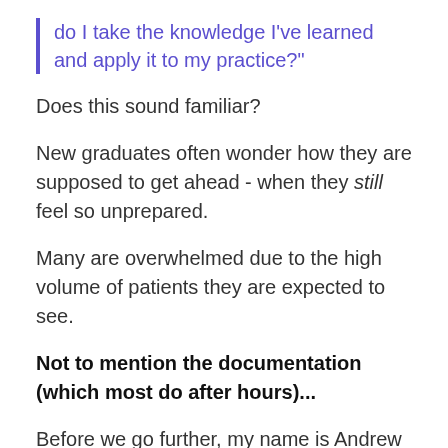do I take the knowledge I've learned and apply it to my practice?"
Does this sound familiar?
New graduates often wonder how they are supposed to get ahead - when they still feel so unprepared.
Many are overwhelmed due to the high volume of patients they are expected to see.
Not to mention the documentation (which most do after hours)...
Before we go further, my name is Andrew and I graduated from PA school in 2012. In 2013, I founded